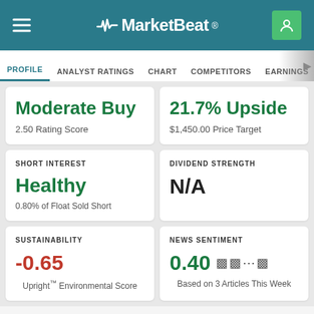MarketBeat
PROFILE | ANALYST RATINGS | CHART | COMPETITORS | EARNINGS | FINANCIAL
Moderate Buy
2.50 Rating Score
21.7% Upside
$1,450.00 Price Target
SHORT INTEREST
Healthy
0.80% of Float Sold Short
DIVIDEND STRENGTH
N/A
SUSTAINABILITY
-0.65
Upright™ Environmental Score
NEWS SENTIMENT
0.40
Based on 3 Articles This Week